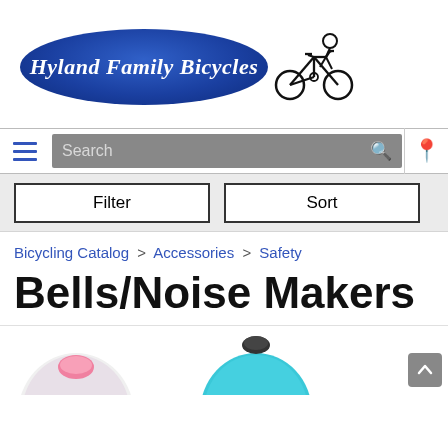[Figure (logo): Hyland Family Bicycles logo: blue oval with italic white text 'Hyland Family Bicycles' and a bicycle/cyclist icon to the right]
Search bar with hamburger menu, search icon, and location icon
Filter   Sort
Bicycling Catalog > Accessories > Safety
Bells/Noise Makers
[Figure (photo): Partial view of two bicycle bells at the bottom of the page — one pink/white and one teal/black]